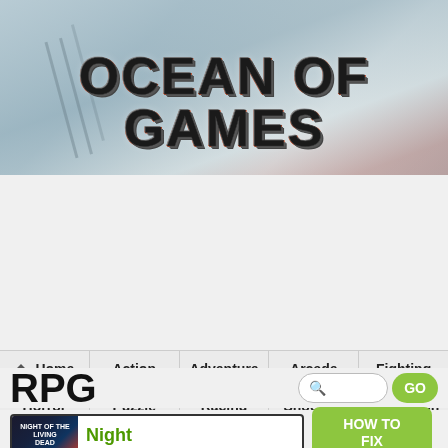[Figure (screenshot): Ocean of Games website header with blurred wintry background photo and stylized metallic logo text reading OCEAN OF GAMES]
OCEAN OF GAMES
Home | Action | Adventure | Arcade | Fighting
Horror | Puzzle | Racing | Shooting | Simulation
Sports | War | Strategy | Mystery | Fantasy
SCI Fi | RPG | Survival | 9Trainers
Ocean of Games
RPG
Night
HOW TO FIX